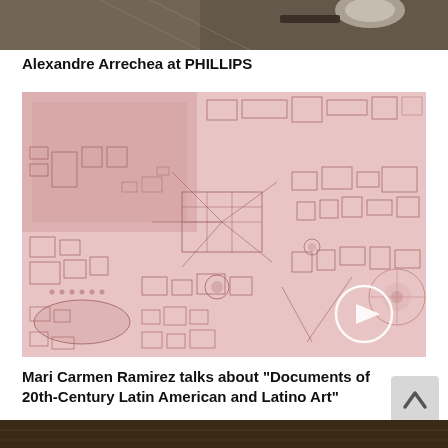[Figure (photo): Partial top image strip showing a dark surface with some objects, partially cropped]
Alexandre Arrechea at PHILLIPS
[Figure (photo): Close-up of a large pink/rose-toned artwork showing an intricate map-like drawing with architectural floor plan elements, circles, squares, and abstract city-like patterns. A circular play button icon is overlaid at the bottom right.]
Mari Carmen Ramirez talks about "Documents of 20th-Century Latin American and Latino Art"
[Figure (photo): Partial bottom image strip showing a dark brownish surface, partially cropped]